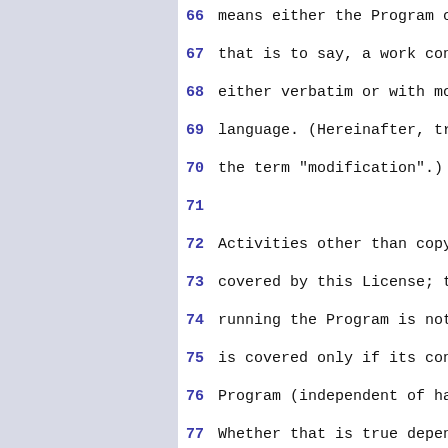66  means either the Program or a
67  that is to say, a work conta
68  either verbatim or with modif
69  language.  (Hereinafter, tra
70  the term "modification".)  Ea
71
72  Activities other than copying
73  covered by this License; they
74  running the Program is not re
75  is covered only if its conte
76  Program (independent of havin
77  Whether that is true depends
78
79     1. You may copy and distrib
80  source code as you receive it
81  conspicuously and appropriately